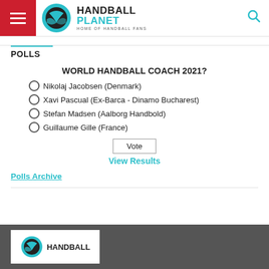[Figure (logo): Handball Planet logo with hamburger menu and search icon in header]
POLLS
WORLD HANDBALL COACH 2021?
Nikolaj Jacobsen (Denmark)
Xavi Pascual (Ex-Barca - Dinamo Bucharest)
Stefan Madsen (Aalborg Handbold)
Guillaume Gille (France)
Vote
View Results
Polls Archive
[Figure (logo): Handball Planet logo in white footer box on dark gray background]